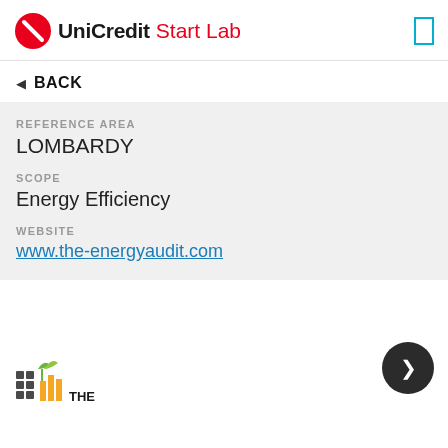UniCredit Start Lab
BACK
REFERENCE AREA
LOMBARDY
SCOPE
Energy Efficiency
WEBSITE
www.the-energyaudit.com
[Figure (logo): THE Energy Audit logo at bottom left, green leaf icon with building graphic]